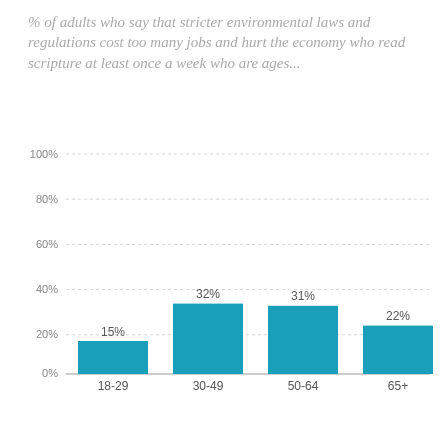% of adults who say that stricter environmental laws and regulations cost too many jobs and hurt the economy who read scripture at least once a week who are ages...
[Figure (bar-chart): % of adults who say that stricter environmental laws and regulations cost too many jobs and hurt the economy who read scripture at least once a week who are ages...]